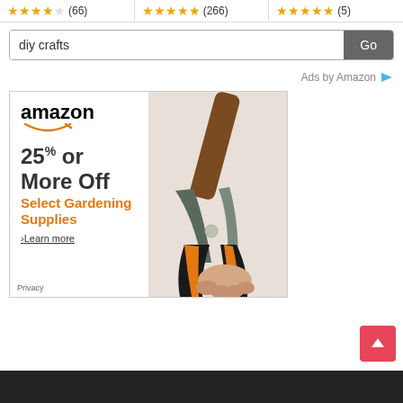[Figure (screenshot): Top rating bar with three product ratings: 3.5 stars (66 reviews), 4.5 stars (266 reviews), 5 stars (5 reviews)]
[Figure (screenshot): Search bar with text 'diy crafts' and a Go button]
Ads by Amazon
[Figure (screenshot): Amazon advertisement banner: 25% or More Off Select Gardening Supplies, Learn more. Shows pruning shears cutting a branch. Privacy link at bottom left.]